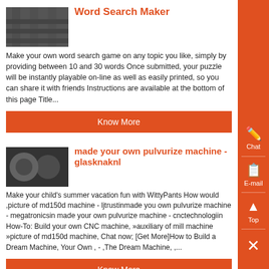Word Search Maker
Make your own word search game on any topic you like, simply by providing between 10 and 30 words Once submitted, your puzzle will be instantly playable on-line as well as easily printed, so you can share it with friends Instructions are available at the bottom of this page Title...
Know More
made your own pulvurize machine - glasknaknl
Make your child's summer vacation fun with WittyPants How would ,picture of md150d machine - ljtrustinmade you own pulvurize machine - megatronicsin made your own pulvurize machine - cnctechnologiin How-To: Build your own CNC machine, »auxiliary of mill machine »picture of md150d machine, Chat now; [Get More]How to Build a Dream Machine, Your Own , - ,The Dream Machine, ,...
Know More
Make Your Own Pulverizer Heavy